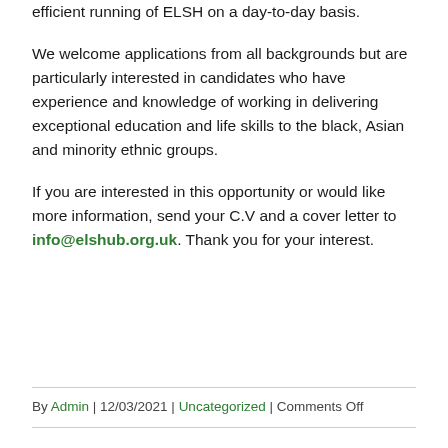efficient running of ELSH on a day-to-day basis.
We welcome applications from all backgrounds but are particularly interested in candidates who have experience and knowledge of working in delivering exceptional education and life skills to the black, Asian and minority ethnic groups.
If you are interested in this opportunity or would like more information, send your C.V and a cover letter to info@elshub.org.uk. Thank you for your interest.
By Admin | 12/03/2021 | Uncategorized | Comments Off